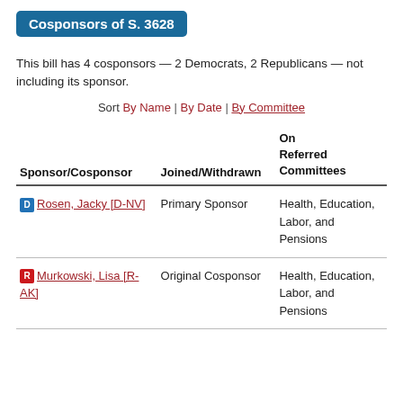Cosponsors of S. 3628
This bill has 4 cosponsors — 2 Democrats, 2 Republicans — not including its sponsor.
Sort By Name | By Date | By Committee
| Sponsor/Cosponsor | Joined/Withdrawn | On Referred Committees |
| --- | --- | --- |
| D Rosen, Jacky [D-NV] | Primary Sponsor | Health, Education, Labor, and Pensions |
| R Murkowski, Lisa [R-AK] | Original Cosponsor | Health, Education, Labor, and Pensions |